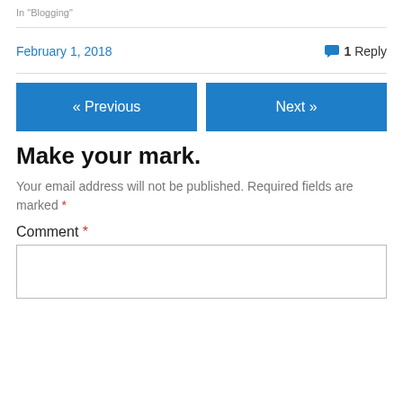In "Blogging"
February 1, 2018
1 Reply
« Previous
Next »
Make your mark.
Your email address will not be published. Required fields are marked *
Comment *